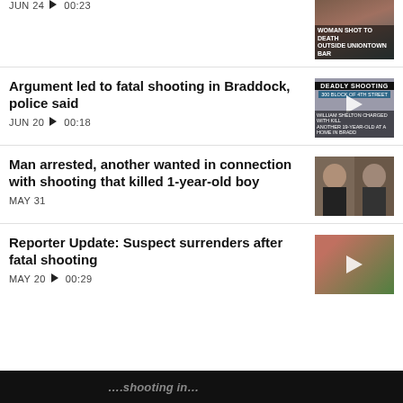JUN 24  ▶ 00:23
[Figure (photo): Video thumbnail showing a scene outside Uniontown bar with overlay text 'Woman shot to death outside Uniontown bar']
Argument led to fatal shooting in Braddock, police said
JUN 20  ▶ 00:18
[Figure (screenshot): Video thumbnail showing DEADLY SHOOTING on 300 block of 4th street map with overlay text about William Shelton charged]
Man arrested, another wanted in connection with shooting that killed 1-year-old boy
MAY 31
[Figure (photo): Photo of two men side by side, mugshot style]
Reporter Update: Suspect surrenders after fatal shooting
MAY 20  ▶ 00:29
[Figure (photo): Video thumbnail of a female reporter in a red shirt outdoors with a play button]